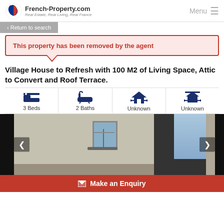French-Property.com — Real Estate, Real Living, Real France | Menu
< Return to search
This property has been removed by the agent
Village House to Refresh with 100 M2 of Living Space, Attic to Convert and Roof Terrace.
3 Beds
2 Baths
Unknown
Unknown
[Figure (photo): Exterior photo of a village house facade, narrow street, with a window balcony visible, flanked by other buildings, blue sky on the right]
Make an Enquiry